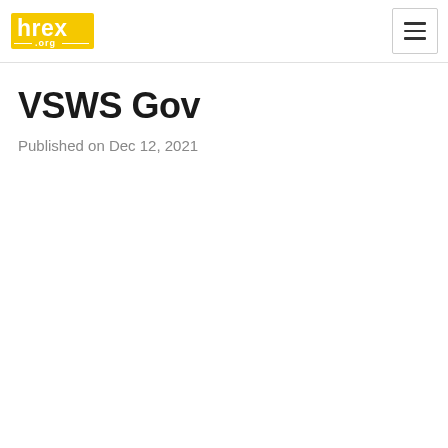hrex .org [logo] [hamburger menu]
VSWS Gov
Published on Dec 12, 2021